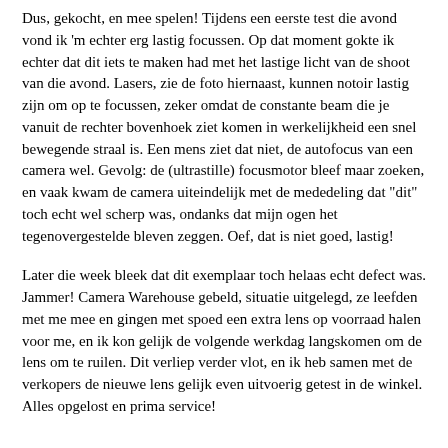Dus, gekocht, en mee spelen! Tijdens een eerste test die avond vond ik 'm echter erg lastig focussen. Op dat moment gokte ik echter dat dit iets te maken had met het lastige licht van de shoot van die avond. Lasers, zie de foto hiernaast, kunnen notoir lastig zijn om op te focussen, zeker omdat de constante beam die je vanuit de rechter bovenhoek ziet komen in werkelijkheid een snel bewegende straal is. Een mens ziet dat niet, de autofocus van een camera wel. Gevolg: de (ultrastille) focusmotor bleef maar zoeken, en vaak kwam de camera uiteindelijk met de mededeling dat "dit" toch echt wel scherp was, ondanks dat mijn ogen het tegenovergestelde bleven zeggen. Oef, dat is niet goed, lastig!
Later die week bleek dat dit exemplaar toch helaas echt defect was. Jammer! Camera Warehouse gebeld, situatie uitgelegd, ze leefden met me mee en gingen met spoed een extra lens op voorraad halen voor me, en ik kon gelijk de volgende werkdag langskomen om de lens om te ruilen. Dit verliep verder vlot, en ik heb samen met de verkopers de nieuwe lens gelijk even uitvoerig getest in de winkel. Alles opgelost en prima service!
Poging 2